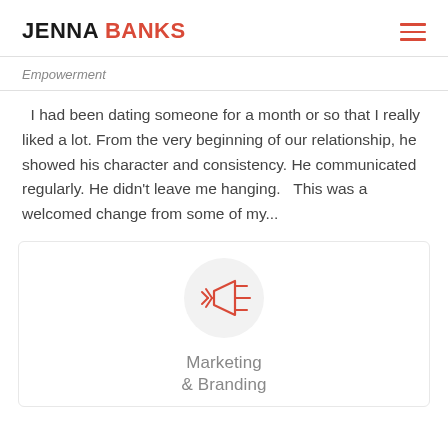JENNA BANKS
Empowerment
I had been dating someone for a month or so that I really liked a lot. From the very beginning of our relationship, he showed his character and consistency. He communicated regularly. He didn't leave me hanging.   This was a welcomed change from some of my...
[Figure (illustration): Red megaphone/speaker icon inside a light gray circle, representing Marketing & Branding category]
Marketing & Branding